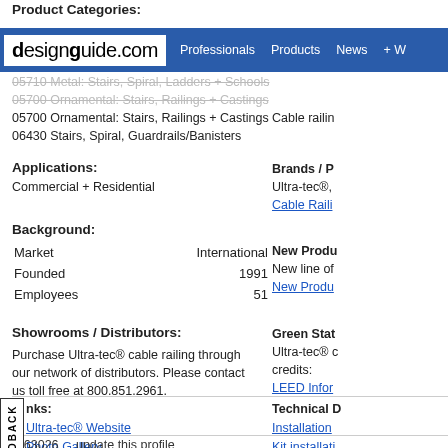Product Categories:
designguide.com | Professionals | Products | News | + W
05710 Metal: Stairs, Spiral, Ladders + Schools (strikethrough)
05700 Ornamental: Stairs, Railings + Castings (strikethrough)
05700 Ornamental: Stairs, Railings + Castings
06430 Stairs, Spiral, Guardrails/Banisters
Applications:
Commercial + Residential
Brands / P
Ultra-tec®,
Cable Raili
Background:
|  |  |
| --- | --- |
| Market | International |
| Founded | 1991 |
| Employees | 51 |
New Produ
New line of
New Produ
Showrooms / Distributors:
Purchase Ultra-tec® cable railing through our network of distributors. Please contact us toll free at 800.851.2961.
Green Stat
Ultra-tec® c
credits:
LEED Infor
nks:
Ultra-tec® Website
Photo Gallery
Ultra-tec® Products
About Ultra-tec®
Technical D
Installation
Kit installati
Wood Cabl
Metal Cable
S 63026    update this profile